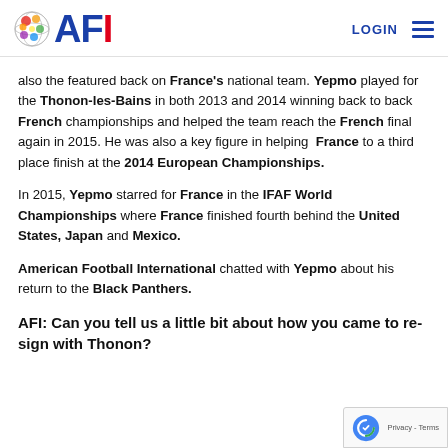AFI — LOGIN
also the featured back on France's national team. Yepmo played for the Thonon-les-Bains in both 2013 and 2014 winning back to back French championships and helped the team reach the French final again in 2015. He was also a key figure in helping France to a third place finish at the 2014 European Championships.
In 2015, Yepmo starred for France in the IFAF World Championships where France finished fourth behind the United States, Japan and Mexico.
American Football International chatted with Yepmo about his return to the Black Panthers.
AFI: Can you tell us a little bit about how you came to re-sign with Thonon?